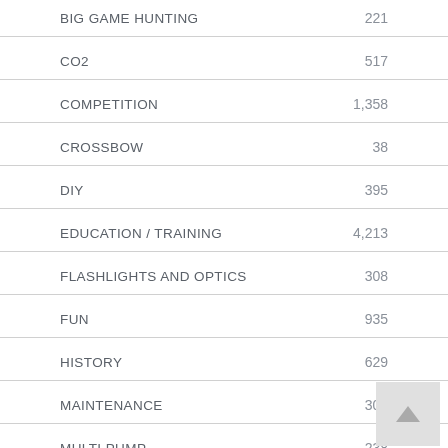| Category | Count |
| --- | --- |
| BIG GAME HUNTING | 221 |
| CO2 | 517 |
| COMPETITION | 1,358 |
| CROSSBOW | 38 |
| DIY | 395 |
| EDUCATION / TRAINING | 4,213 |
| FLASHLIGHTS AND OPTICS | 308 |
| FUN | 935 |
| HISTORY | 629 |
| MAINTENANCE | 309 |
| MULTI PUMP | 238 |
| PCP | 666 |